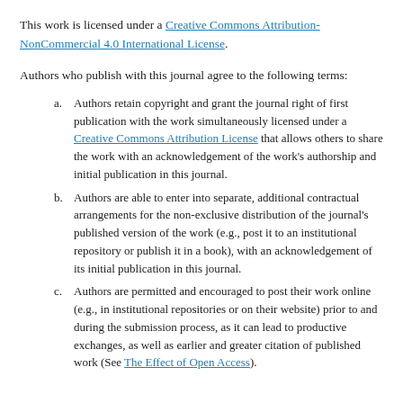This work is licensed under a Creative Commons Attribution-NonCommercial 4.0 International License.
Authors who publish with this journal agree to the following terms:
a. Authors retain copyright and grant the journal right of first publication with the work simultaneously licensed under a Creative Commons Attribution License that allows others to share the work with an acknowledgement of the work's authorship and initial publication in this journal.
b. Authors are able to enter into separate, additional contractual arrangements for the non-exclusive distribution of the journal's published version of the work (e.g., post it to an institutional repository or publish it in a book), with an acknowledgement of its initial publication in this journal.
c. Authors are permitted and encouraged to post their work online (e.g., in institutional repositories or on their website) prior to and during the submission process, as it can lead to productive exchanges, as well as earlier and greater citation of published work (See The Effect of Open Access).